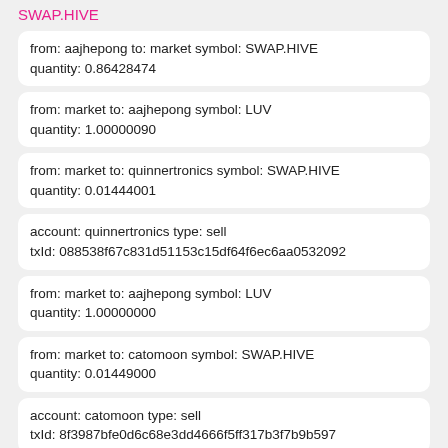SWAP.HIVE
from: aajhepong to: market symbol: SWAP.HIVE
quantity: 0.86428474
from: market to: aajhepong symbol: LUV
quantity: 1.00000090
from: market to: quinnertronics symbol: SWAP.HIVE
quantity: 0.01444001
account: quinnertronics type: sell
txId: 088538f67c831d51153c15df64f6ec6aa0532092
from: market to: aajhepong symbol: LUV
quantity: 1.00000000
from: market to: catomoon symbol: SWAP.HIVE
quantity: 0.01449000
account: catomoon type: sell
txId: 8f3987bfe0d6c68e3dd4666f5ff317b3f7b9b597
from: market to: aajhepong symbol: LUV
quantity: 3.00000000
from: market to: amaari symbol: SWAP.HIVE
quantity: 0.04349697
account: amaari type: sell
txId: 36f428375929b1dcd15ee0dfdc7824b5c718e747
from: market to: aajhepong symbol: LUV
quantity: 3.00000000
from: market to: ruralio symbol: SWAP.HIVE